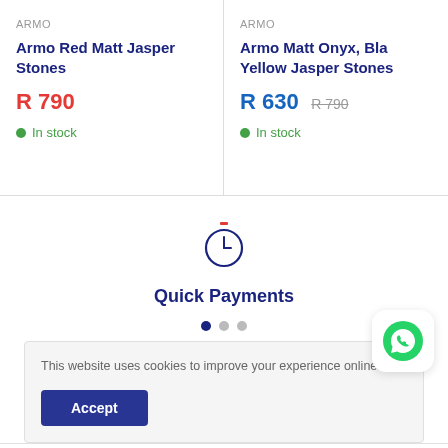ARMO
Armo Red Matt Jasper Stones
R 790
In stock
ARMO
Armo Matt Onyx, Bla... Yellow Jasper Stones
R 630  R 790
In stock
[Figure (illustration): Clock/timer icon representing quick payments]
Quick Payments
[Figure (illustration): WhatsApp icon button]
This website uses cookies to improve your experience online.
Accept
CONTACT US